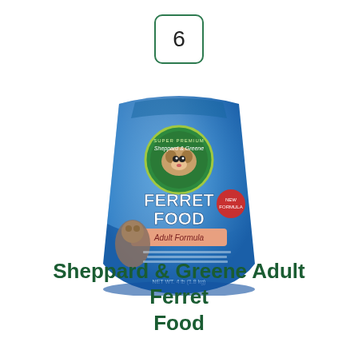6
[Figure (photo): A blue bag of Sheppard & Greene Super Premium Ferret Food (Adult Formula) with a ferret image on the packaging.]
Sheppard & Greene Adult Ferret Food